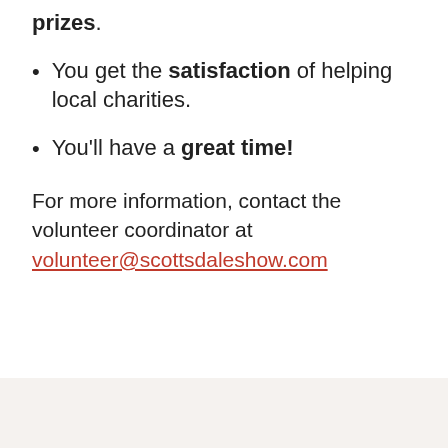prizes.
You get the satisfaction of helping local charities.
You'll have a great time!
For more information, contact the volunteer coordinator at volunteer@scottsdaleshow.com